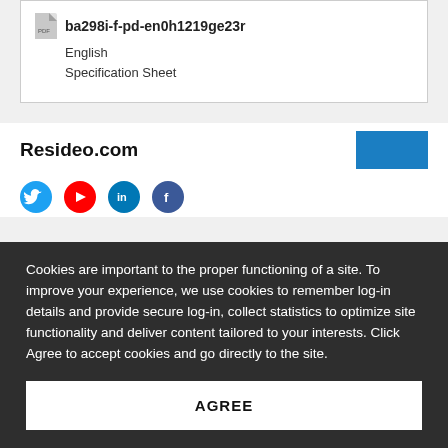ba298i-f-pd-en0h1219ge23r
English
Specification Sheet
Resideo.com
Cookies are important to the proper functioning of a site. To improve your experience, we use cookies to remember log-in details and provide secure log-in, collect statistics to optimize site functionality and deliver content tailored to your interests. Click Agree to accept cookies and go directly to the site.
AGREE